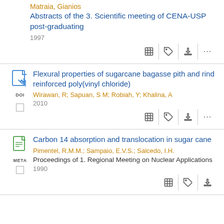Matraia, Gianios
Abstracts of the 3. Scientific meeting of CENA-USP post-graduating
1997
Flexural properties of sugarcane bagasse pith and rind reinforced poly(vinyl chloride)
Wirawan, R; Sapuan, S M; Robiah, Y; Khalina, A
2010
Carbon 14 absorption and translocation in sugar cane
Pimentel, R.M.M.; Sampaio, E.V.S.; Salcedo, I.H.
Proceedings of 1. Regional Meeting on Nuclear Applications
1990